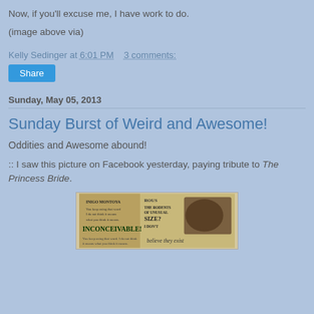Now, if you'll excuse me, I have work to do.
(image above via)
Kelly Sedinger at 6:01 PM    3 comments:
Share
Sunday, May 05, 2013
Sunday Burst of Weird and Awesome!
Oddities and Awesome abound!
:: I saw this picture on Facebook yesterday, paying tribute to The Princess Bride.
[Figure (photo): Meme image referencing The Princess Bride with text including INCONCEIVABLE!, ROUS, THE RODENTS OF UNUSUAL SIZE? I DON'T believe they exist]